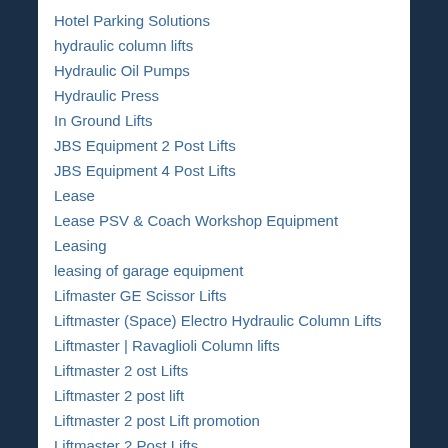Hotel Parking Solutions
hydraulic column lifts
Hydraulic Oil Pumps
Hydraulic Press
In Ground Lifts
JBS Equipment 2 Post Lifts
JBS Equipment 4 Post Lifts
Lease
Lease PSV & Coach Workshop Equipment
Leasing
leasing of garage equipment
Lifmaster GE Scissor Lifts
Liftmaster (Space) Electro Hydraulic Column Lifts
Liftmaster | Ravaglioli Column lifts
Liftmaster 2 ost Lifts
Liftmaster 2 post lift
Liftmaster 2 post Lift promotion
Liftmaster 2 Post Lifts